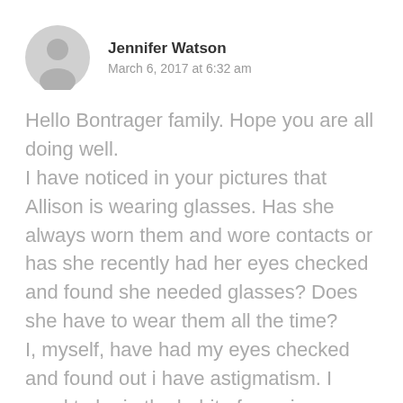[Figure (illustration): Gray circular avatar placeholder with a generic person silhouette icon]
Jennifer Watson
March 6, 2017 at 6:32 am
Hello Bontrager family. Hope you are all doing well.
I have noticed in your pictures that Allison is wearing glasses. Has she always worn them and wore contacts or has she recently had her eyes checked and found she needed glasses? Does she have to wear them all the time?
I, myself, have had my eyes checked and found out i have astigmatism. I used to be in the habit of wearing my glasses but stopped wearing them regularly. I need to start wearing them so I can see distant